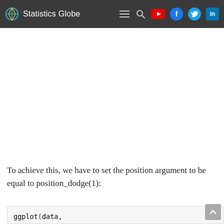Statistics Globe
To achieve this, we have to set the position argument to be equal to position_dodge(1):
[Figure (screenshot): Code snippet showing ggplot(data, # Sa
       aes(x = group,
           y = value,
           fill = subgroup)) +
  geom_boxplot(position = position_dodge(.]